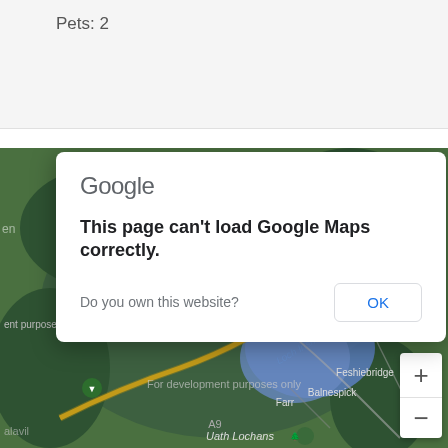Pets: 2
[Figure (screenshot): Google Maps screenshot showing Kincraig area in Scotland with error dialog overlay. Map shows Loch Insh, Dalnavert, Feshiebridge, Balnespick, Farr, Uath Lochans, and A9 road. A red map pin marks Kincraig. Watermark reads 'For development purposes only'.]
Google
This page can't load Google Maps correctly.
Do you own this website?
OK